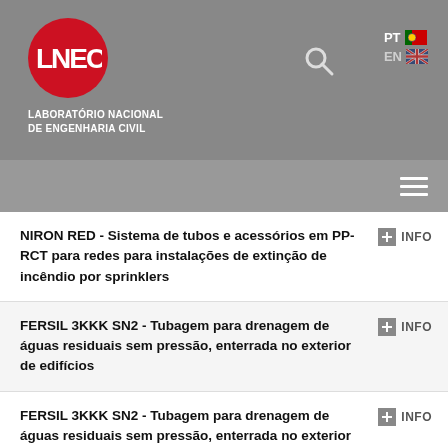[Figure (logo): LNEC - Laboratório Nacional de Engenharia Civil logo with red circle and white text on grey header background]
[Figure (screenshot): Website navigation bar with hamburger menu icon]
NIRON RED - Sistema de tubos e acessórios em PP-RCT para redes para instalações de extinção de incêndio por sprinklers
FERSIL 3KKK SN2 - Tubagem para drenagem de águas residuais sem pressão, enterrada no exterior de edifícios
FERSIL 3KKK SN2 - Tubagem para drenagem de águas residuais sem pressão, enterrada no exterior de edifícios
Tecnodeck - Kits para revestimentos de piso